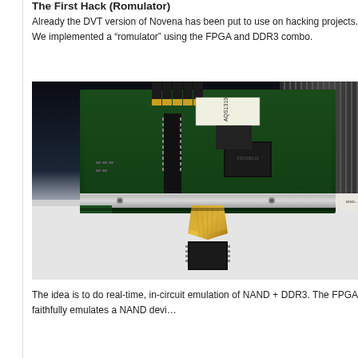The First Hack (Romulator)
Already the DVT version of Novena has been put to use on hacking projects. We implemented a “romulator” using the FPGA and DDR3 combo.
[Figure (photo): Close-up photo of a Novena DVT circuit board (green PCB) with memory modules, connectors, and a flexible cable connecting to a NAND chip placed on a white surface below the board.]
The idea is to do real-time, in-circuit emulation of NAND + DDR3. The FPGA faithfully emulates a NAND devi…